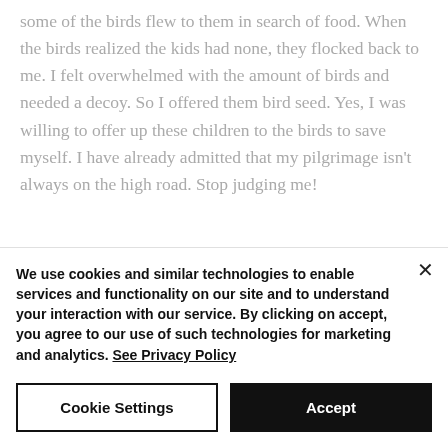some of the birds flew to them in search of food. When the birds realized the kids had none, they flocked back to me. I felt overwhelmed with the amount of birds and needed a decoy. So I offered them bird seed. Yes, I was willing to offer up these children to the birds to save myself. I have already admitted that my pilgrimage isn't always on the high road. Stop judging me!
We use cookies and similar technologies to enable services and functionality on our site and to understand your interaction with our service. By clicking on accept, you agree to our use of such technologies for marketing and analytics. See Privacy Policy
Cookie Settings
Accept